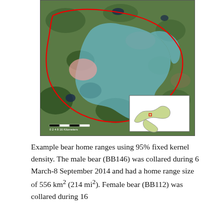[Figure (map): Aerial/satellite map showing bear home ranges. A large light blue shaded area represents the 95% fixed kernel density home range of a male bear (BB146). A smaller pink/salmon shaded area overlaps the western edge of the blue area. A red outline polygon represents another home range boundary. An inset map in the lower right shows the state of Michigan (light green outline) with a small red square marking the study area location in the Upper Peninsula.]
Example bear home ranges using 95% fixed kernel density. The male bear (BB146) was collared during 6 March-8 September 2014 and had a home range size of 556 km2 (214 mi2). Female bear (BB112) was collared during 16